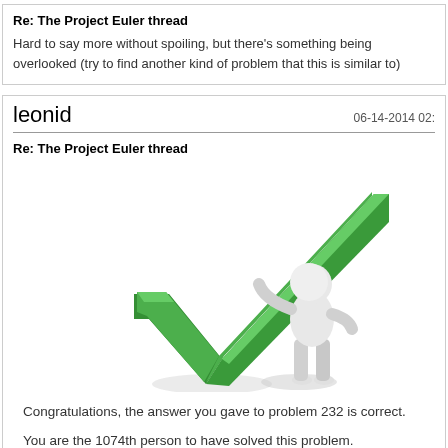Re: The Project Euler thread
Hard to say more without spoiling, but there's something being overlooked (try to find another kind of problem that this is similar to)
leonid
06-14-2014 02:
Re: The Project Euler thread
[Figure (illustration): 3D illustration of a white humanoid figure standing next to and touching a large green checkmark]
Congratulations, the answer you gave to problem 232 is correct.
You are the 1074th person to have solved this problem.